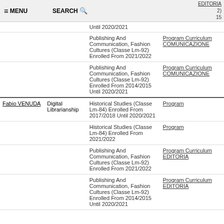≡ MENU   SEARCH 🔍
| Name | Course | Program | Link |
| --- | --- | --- | --- |
|  |  | Publishing And Communication, Fashion Cultures (Classe Lm-92) Enrolled From 2021/2022 | Program Curriculum COMUNICAZIONE |
|  |  | Publishing And Communication, Fashion Cultures (Classe Lm-92) Enrolled From 2014/2015 Until 2020/2021 | Program Curriculum COMUNICAZIONE |
| Fabio VENUDA | Digital Librarianship | Historical Studies (Classe Lm-84) Enrolled From 2017/2018 Until 2020/2021 | Program |
|  |  | Historical Studies (Classe Lm-84) Enrolled From 2021/2022 | Program |
|  |  | Publishing And Communication, Fashion Cultures (Classe Lm-92) Enrolled From 2021/2022 | Program Curriculum EDITORIA |
|  |  | Publishing And Communication, Fashion Cultures (Classe Lm-92) Enrolled From 2014/2015 Until 2020/2021 | Program Curriculum EDITORIA |